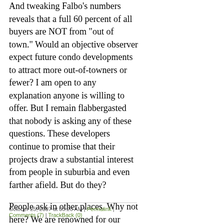And tweaking Falbo's numbers reveals that a full 60 percent of all buyers are NOT from "out of town." Would an objective observer expect future condo developments to attract more out-of-towners or fewer? I am open to any explanation anyone is willing to offer. But I remain flabbergasted that nobody is asking any of these questions. These developers continue to promise that their projects draw a substantial interest from people in suburbia and even farther afield. But do they?
People ask in other places. Why not here? We are renowned for our "world-class development institutions" and "one of America's great newspapers." But all seem curiously un-curious in this regard.
October 25, 2007 at 03:23 AM | Permalink | Comments (7) | TrackBack (0)